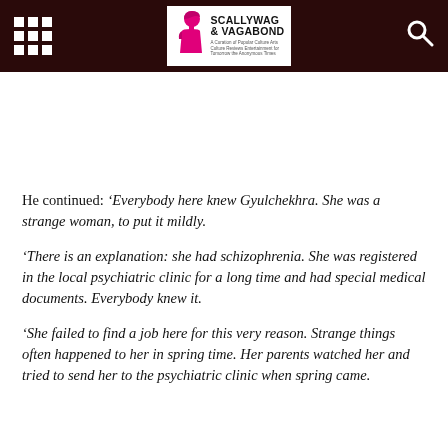SCALLYWAG & VAGABOND
He continued: ‘Everybody here knew Gyulchekhra. She was a strange woman, to put it mildly.
‘There is an explanation: she had schizophrenia. She was registered in the local psychiatric clinic for a long time and had special medical documents. Everybody knew it.
‘She failed to find a job here for this very reason. Strange things often happened to her in spring time. Her parents watched her and tried to send her to the psychiatric clinic when spring came.